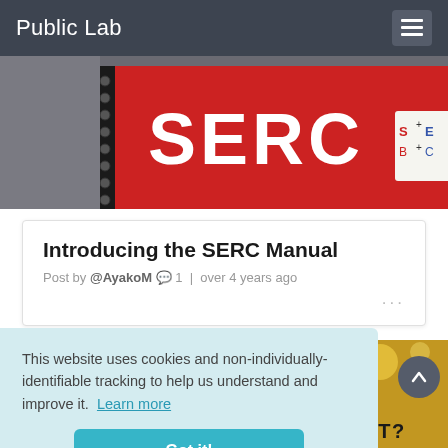Public Lab
[Figure (photo): Photo strip showing a red spiral-bound SERC notebook/binder with bold white SERC lettering and a small SE+C logo badge, people in background]
Introducing the SERC Manual
Post by @AyakoM  💬 1  |  over 4 years ago
[Figure (photo): Photo strip of an event space with warm bokeh/string light background and what appears to be audio/camera equipment in foreground]
This website uses cookies and non-individually-identifiable tracking to help us understand and improve it.  Learn more
Got it!
PLANNING TO HOST AN EVENT?